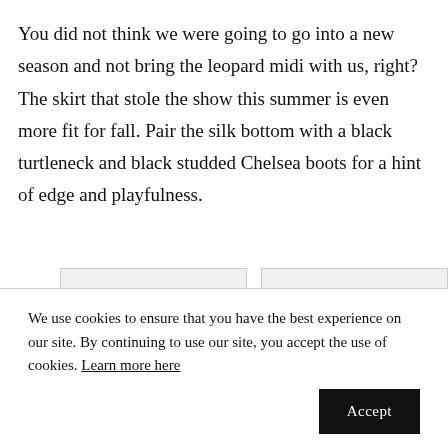You did not think we were going to go into a new season and not bring the leopard midi with us, right? The skirt that stole the show this summer is even more fit for fall. Pair the silk bottom with a black turtleneck and black studded Chelsea boots for a hint of edge and playfulness.
[Figure (photo): Two image placeholders side by side, partially visible, with light gray background]
We use cookies to ensure that you have the best experience on our site. By continuing to use our site, you accept the use of cookies. Learn more here